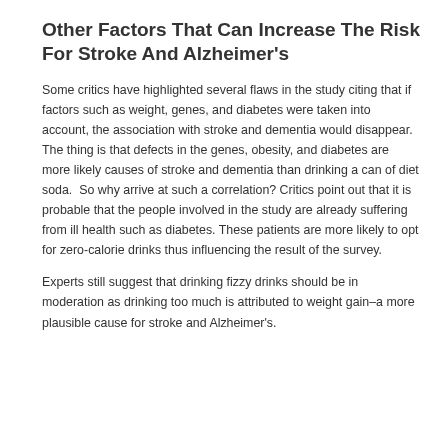Other Factors That Can Increase The Risk For Stroke And Alzheimer's
Some critics have highlighted several flaws in the study citing that if factors such as weight, genes, and diabetes were taken into account, the association with stroke and dementia would disappear. The thing is that defects in the genes, obesity, and diabetes are more likely causes of stroke and dementia than drinking a can of diet soda.  So why arrive at such a correlation? Critics point out that it is probable that the people involved in the study are already suffering from ill health such as diabetes. These patients are more likely to opt for zero-calorie drinks thus influencing the result of the survey.
Experts still suggest that drinking fizzy drinks should be in moderation as drinking too much is attributed to weight gain–a more plausible cause for stroke and Alzheimer's.